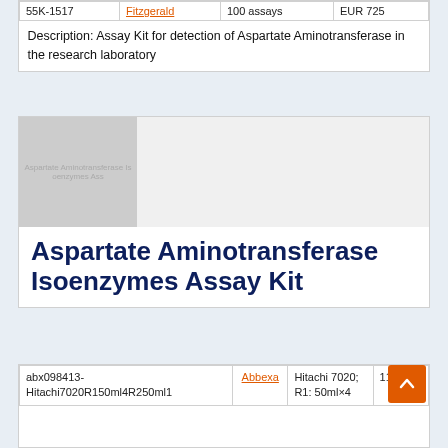| 55K-1517 | Fitzgerald | 100 assays | EUR 725 |
| --- | --- | --- | --- |
| Description: Assay Kit for detection of Aspartate Aminotransferase in the research laboratory |
[Figure (photo): Product image placeholder for Aspartate Aminotransferase Isoenzymes Assay Kit, grey placeholder box with text overlay]
Aspartate Aminotransferase Isoenzymes Assay Kit
|  |  | Hitachi 7020; R1: 50ml×4 |  |
| --- | --- | --- | --- |
| abx098413-Hitachi7020R150ml4R250ml1 | Abbexa | Hitachi 7020; R1: 50ml×4 | 1193 |